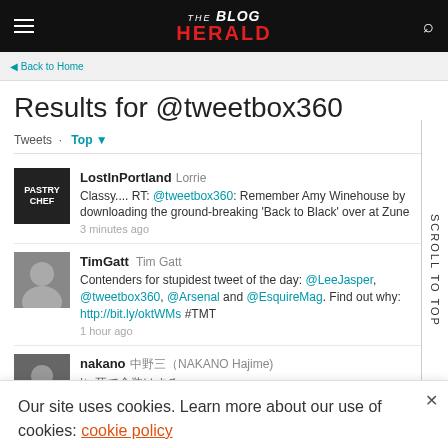THE BLOG HERALD
Back to Home
Results for @tweetbox360
Tweets · Top
LostInPortland Lorrie
Classy.... RT: @tweetbox360: Remember Amy Winehouse by downloading the ground-breaking 'Back to Black' over at Zune
3 minutes ago
TimGatt Tim Gatt
Contenders for stupidest tweet of the day: @LeeJasper, @tweetbox360, @Arsenal and @EsquireMag. Find out why: http://bit.ly/oktWMs #TMT
1 hour ago
nakano 中野三（NAKANO Hajime)
Our site uses cookies. Learn more about our use of cookies: cookie policy
I ACCEPT USE OF COOKIES